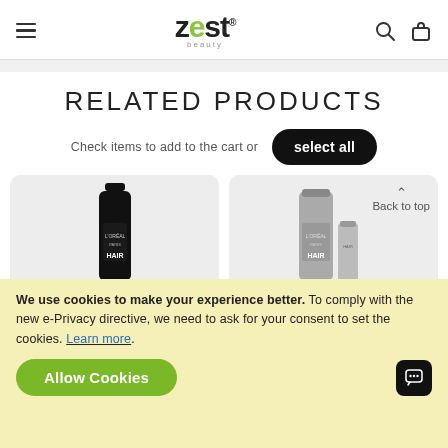[Figure (screenshot): Zest Beauty website header with hamburger menu, logo, search and cart icons]
RELATED PRODUCTS
Check items to add to the cart or
select all
[Figure (photo): L'Oreal Hair Touch Up black spray bottle product image on grey card background]
[Figure (photo): L'Oreal Hair Touch Up grey spray bottles product image with Back to top overlay]
We use cookies to make your experience better. To comply with the new e-Privacy directive, we need to ask for your consent to set the cookies. Learn more.
Allow Cookies